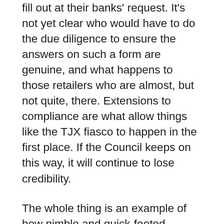assessment questionnaire that firms would have to fill out at their banks' request. It's not yet clear who would have to do the due diligence to ensure the answers on such a form are genuine, and what happens to those retailers who are almost, but not quite, there. Extensions to compliance are what allow things like the TJX fiasco to happen in the first place. If the Council keeps on this way, it will continue to lose credibility.
The whole thing is an example of how nimble and quick-footed hackers are compared to the bureaucracy that surrounds standards bodies. Only now is the Council really looking closely at wireless security issues, when it has been clear for some time that hackers broke through TJX's outdated encryption software. By the time it comes out with an approval process and picks out certified evaluators, there are bound to be a new series of vulnerabilities exposed